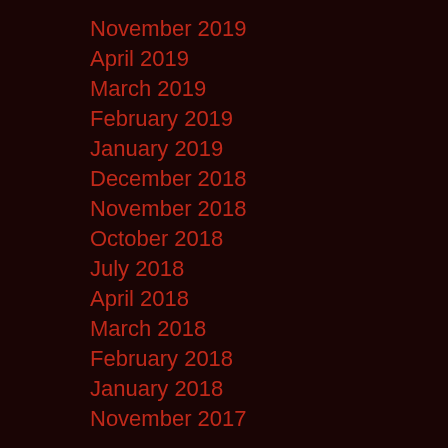November 2019
April 2019
March 2019
February 2019
January 2019
December 2018
November 2018
October 2018
July 2018
April 2018
March 2018
February 2018
January 2018
November 2017